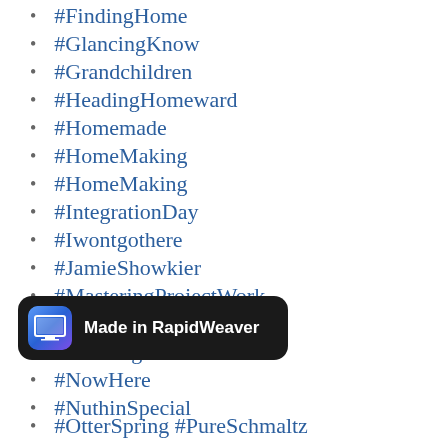#FindingHome
#GlancingKnow
#Grandchildren
#HeadingHomeward
#Homemade
#HomeMaking
#HomeMaking
#IntegrationDay
#Iwontgothere
#JamieShowkier
#MasteringProjectWork
#Mooving
#MorningMissive
#NowHere
#NuthinSpecial
[Figure (screenshot): Toast notification overlay: 'Made in RapidWeaver' with app icon]
#OtterSpring #PureSchmaltz